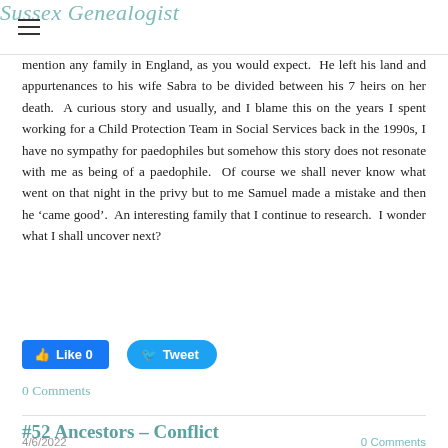Sussex Genealogist
mention any family in England, as you would expect.  He left his land and appurtenances to his wife Sabra to be divided between his 7 heirs on her death.  A curious story and usually, and I blame this on the years I spent working for a Child Protection Team in Social Services back in the 1990s, I have no sympathy for paedophiles but somehow this story does not resonate with me as being of a paedophile.  Of course we shall never know what went on that night in the privy but to me Samuel made a mistake and then he ‘came good’.  An interesting family that I continue to research.  I wonder what I shall uncover next?
[Figure (other): Facebook Like button (Like 0) and Twitter Tweet button]
0 Comments
#52 Ancestors – Conflict
4/6/2022
0 Comments